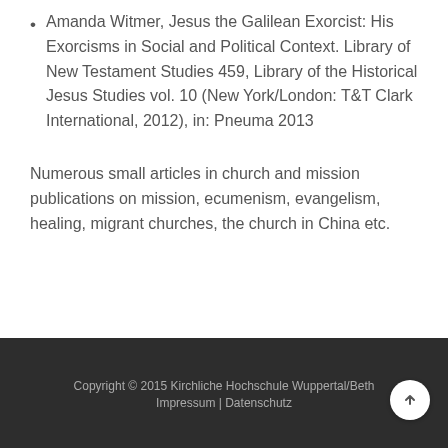Amanda Witmer, Jesus the Galilean Exorcist: His Exorcisms in Social and Political Context. Library of New Testament Studies 459, Library of the Historical Jesus Studies vol. 10 (New York/London: T&T Clark International, 2012), in: Pneuma 2013
Numerous small articles in church and mission publications on mission, ecumenism, evangelism, healing, migrant churches, the church in China etc.
Copyright © 2015 Kirchliche Hochschule Wuppertal/Beth
Impressum | Datenschutz